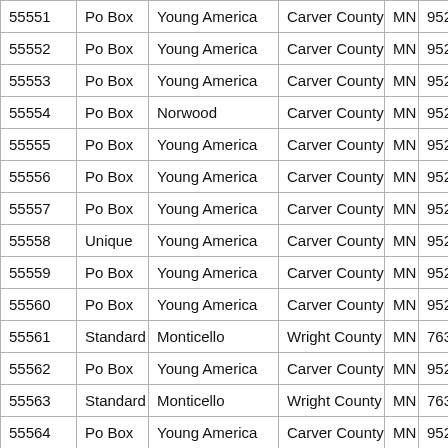| 55551 | Po Box | Young America | Carver County | MN | 952 |
| 55552 | Po Box | Young America | Carver County | MN | 952 |
| 55553 | Po Box | Young America | Carver County | MN | 952 |
| 55554 | Po Box | Norwood | Carver County | MN | 952 |
| 55555 | Po Box | Young America | Carver County | MN | 952 |
| 55556 | Po Box | Young America | Carver County | MN | 952 |
| 55557 | Po Box | Young America | Carver County | MN | 952 |
| 55558 | Unique | Young America | Carver County | MN | 952 |
| 55559 | Po Box | Young America | Carver County | MN | 952 |
| 55560 | Po Box | Young America | Carver County | MN | 952 |
| 55561 | Standard | Monticello | Wright County | MN | 763 |
| 55562 | Po Box | Young America | Carver County | MN | 952 |
| 55563 | Standard | Monticello | Wright County | MN | 763 |
| 55564 | Po Box | Young America | Carver County | MN | 952 |
| 55565 | Po Box | Monticello | Wright County | MN | 763 |